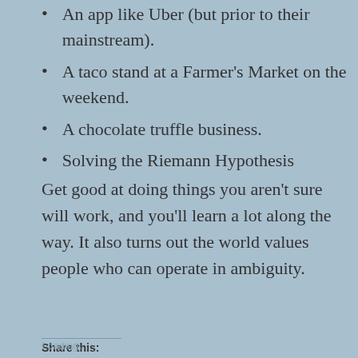An app like Uber (but prior to their mainstream).
A taco stand at a Farmer's Market on the weekend.
A chocolate truffle business.
Solving the Riemann Hypothesis
Get good at doing things you aren't sure will work, and you'll learn a lot along the way. It also turns out the world values people who can operate in ambiguity.
Share this:
Twitter  Facebook  Reddit  LinkedIn  Email
Loading…